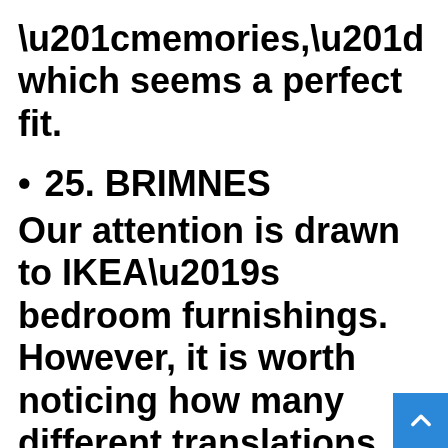“memories,” which seems a perfect fit.
25. BRIMNES
Our attention is drawn to IKEA’s bedroom furnishings. However, it is worth noticing how many different translations pronounce “Brimnes”. This wardrobe series, named for